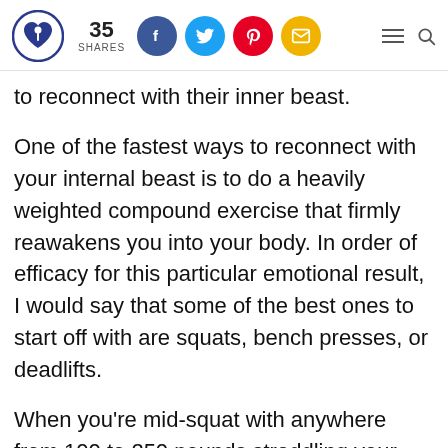35 SHARES [social icons: Facebook, Twitter, Pinterest, Email] [hamburger menu] [search]
to reconnect with their inner beast.
One of the fastest ways to reconnect with your internal beast is to do a heavily weighted compound exercise that firmly reawakens you into your body. In order of efficacy for this particular emotional result, I would say that some of the best ones to start off with are squats, bench presses, or deadlifts.
When you're mid-squat with anywhere from 100 to 250 pounds straddling your shoulders and you can see your face in the mirror with a